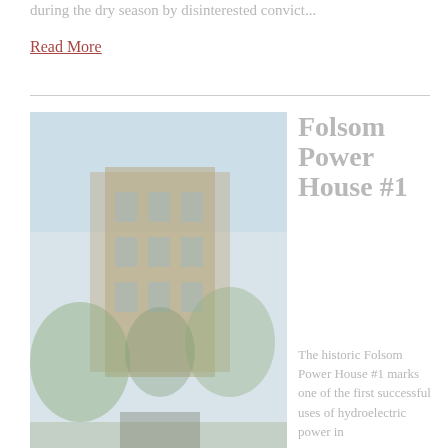during the dry season by disinterested convict...
Read More
[Figure (photo): Exterior photo of Folsom Power House #1, a historic multi-story stone or brick building with surrounding trees and vegetation.]
Folsom Power House #1
The historic Folsom Power House #1 marks one of the first successful uses of hydroelectric power in the world and the first successful transmission of power long distance (twenty-two miles to Sacramento). The old Folsom Power House still shelters the machinery generated to drive streetcars and...
Read More